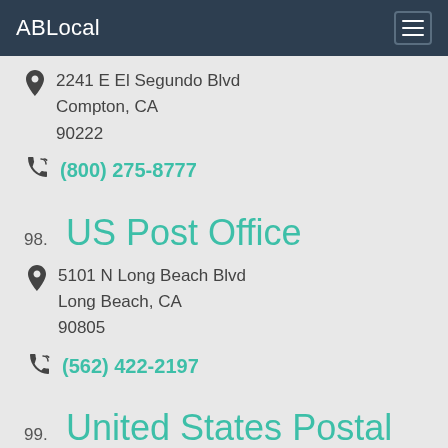ABLocal
2241 E El Segundo Blvd
Compton, CA
90222
(800) 275-8777
US Post Office
5101 N Long Beach Blvd
Long Beach, CA
90805
(562) 422-2197
United States Postal